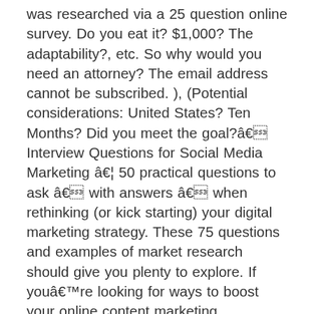was researched via a 25 question online survey. Do you eat it? $1,000? The adaptability?, etc. So why would you need an attorney? The email address cannot be subscribed. ), (Potential considerations: United States? Ten Months? Did you meet the goal?â Interview Questions for Social Media Marketing â¦ 50 practical questions to ask â with answers â when rethinking (or kick starting) your digital marketing strategy. These 75 questions and examples of market research should give you plenty to explore. If youâre looking for ways to boost your online content marketing strategyâand give your writing some extra zingâlearn more about your customers and create custom